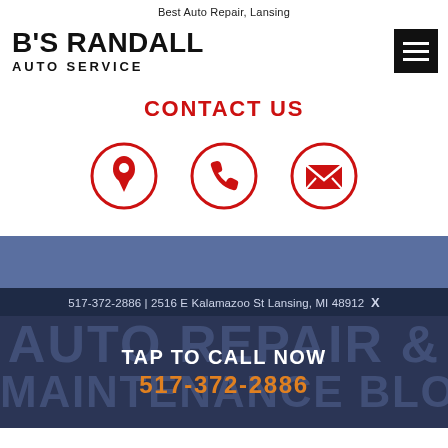Best Auto Repair, Lansing
B'S RANDALL AUTO SERVICE
CONTACT US
[Figure (infographic): Three red circle icons: location pin, phone handset, and envelope (contact icons)]
517-372-2886 | 2516 E Kalamazoo St Lansing, MI 48912
TAP TO CALL NOW
517-372-2886
AUTO REPAIR & MAINTENANCE BLOG